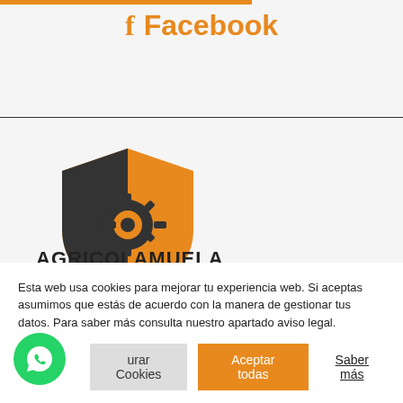f Facebook
[Figure (logo): Agricola Muela logo: shield shape with gear icon, orange and dark grey colors, with text AGRICOLAMUELA below]
Esta web usa cookies para mejorar tu experiencia web. Si aceptas asumimos que estás de acuerdo con la manera de gestionar tus datos. Para saber más consulta nuestro apartado aviso legal.
Configurar Cookies | Aceptar todas | Saber más